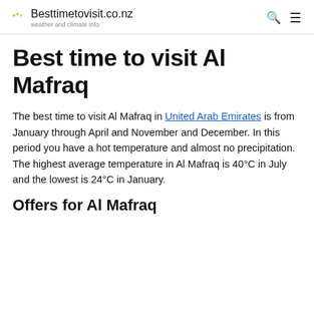Besttimetovisit.co.nz — weather and climate info
Best time to visit Al Mafraq
The best time to visit Al Mafraq in United Arab Emirates is from January through April and November and December. In this period you have a hot temperature and almost no precipitation. The highest average temperature in Al Mafraq is 40°C in July and the lowest is 24°C in January.
Offers for Al Mafraq